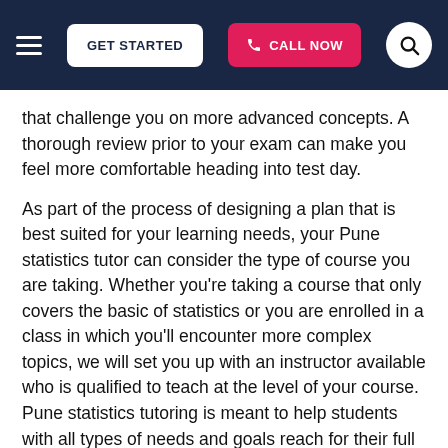GET STARTED | CALL NOW
that challenge you on more advanced concepts. A thorough review prior to your exam can make you feel more comfortable heading into test day.
As part of the process of designing a plan that is best suited for your learning needs, your Pune statistics tutor can consider the type of course you are taking. Whether you're taking a course that only covers the basic of statistics or you are enrolled in a class in which you'll encounter more complex topics, we will set you up with an instructor available who is qualified to teach at the level of your course. Pune statistics tutoring is meant to help students with all types of needs and goals reach for their full potential in the subject.
Pune statistics tutoring gives you the chance to bring